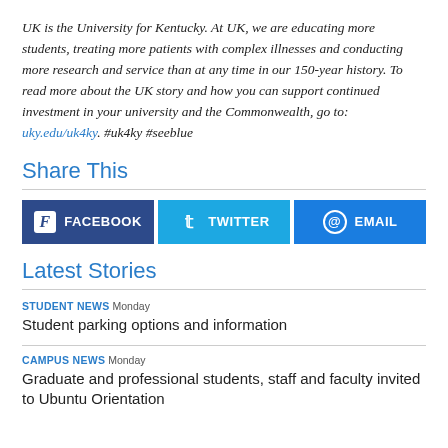UK is the University for Kentucky. At UK, we are educating more students, treating more patients with complex illnesses and conducting more research and service than at any time in our 150-year history. To read more about the UK story and how you can support continued investment in your university and the Commonwealth, go to: uky.edu/uk4ky. #uk4ky #seeblue
Share This
[Figure (infographic): Three social sharing buttons side by side: Facebook (dark blue), Twitter (cyan), Email (blue)]
Latest Stories
STUDENT NEWS Monday
Student parking options and information
CAMPUS NEWS Monday
Graduate and professional students, staff and faculty invited to Ubuntu Orientation